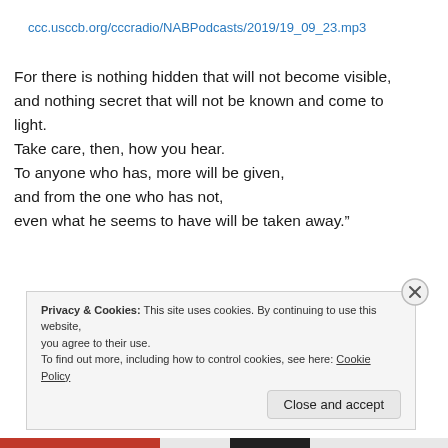ccc.usccb.org/cccradio/NABPodcasts/2019/19_09_23.mp3
For there is nothing hidden that will not become visible, and nothing secret that will not be known and come to light.
Take care, then, how you hear.
To anyone who has, more will be given,
and from the one who has not,
even what he seems to have will be taken away.”
Privacy & Cookies: This site uses cookies. By continuing to use this website, you agree to their use.
To find out more, including how to control cookies, see here: Cookie Policy
Close and accept